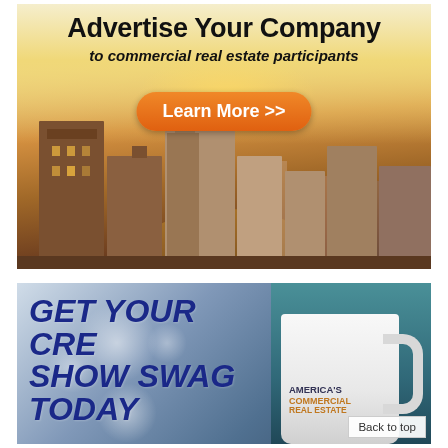[Figure (illustration): Advertisement banner showing 'Advertise Your Company to commercial real estate participants' with a Learn More >> orange button and a city skyline with skyscrapers at sunset in warm golden tones.]
[Figure (photo): Advertisement banner with bold italic dark blue text 'GET YOUR CRE SHOW SWAG TODAY' on a blue-grey bokeh background, with a white coffee mug on the right showing 'AMERICA'S COMMERCIAL REAL ESTATE' text, and a 'Back to top' link in the bottom right corner.]